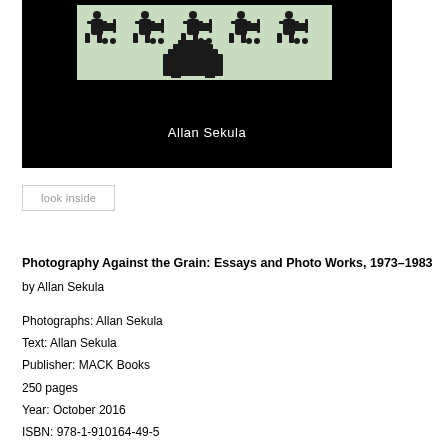[Figure (photo): Book cover of 'Photography Against the Grain' by Allan Sekula. Black background with a light green rectangle containing silhouette figures of people pushing carts and a large camera/projector shape. Author name 'Allan Sekula' in white text at bottom.]
look inside
Photography Against the Grain: Essays and Photo Works, 1973–1983
by Allan Sekula
Photographs: Allan Sekula
Text: Allan Sekula
Publisher: MACK Books
250 pages
Year: October 2016
ISBN: 978-1-910164-49-5
Price: 38.50 €